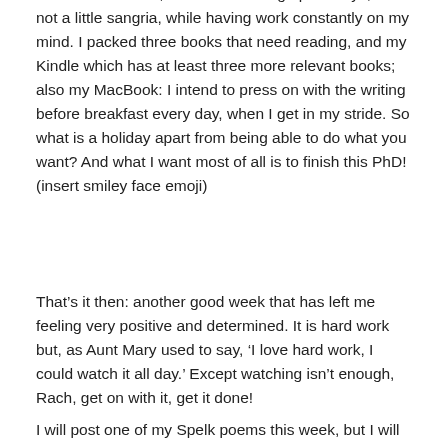went without hitch, and I am soaking up the rays, and not a little sangria, while having work constantly on my mind. I packed three books that need reading, and my Kindle which has at least three more relevant books; also my MacBook: I intend to press on with the writing before breakfast every day, when I get in my stride. So what is a holiday apart from being able to do what you want? And what I want most of all is to finish this PhD! (insert smiley face emoji)
That’s it then: another good week that has left me feeling very positive and determined. It is hard work but, as Aunt Mary used to say, ‘I love hard work, I could watch it all day.’ Except watching isn’t enough, Rach, get on with it, get it done!
I will post one of my Spelk poems this week, but I will give Michael’s advice serious consideration in future, so it